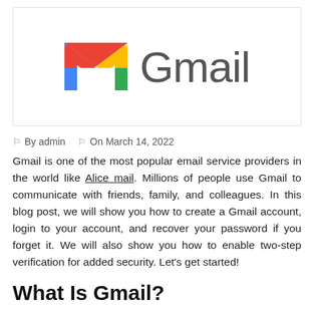[Figure (logo): Gmail logo: colorful M envelope icon and the word 'Gmail' in grey sans-serif text, displayed in a white box with a light border.]
🗓 By admin   📅 On March 14, 2022
Gmail is one of the most popular email service providers in the world like Alice mail. Millions of people use Gmail to communicate with friends, family, and colleagues. In this blog post, we will show you how to create a Gmail account, login to your account, and recover your password if you forget it. We will also show you how to enable two-step verification for added security. Let's get started!
What Is Gmail?